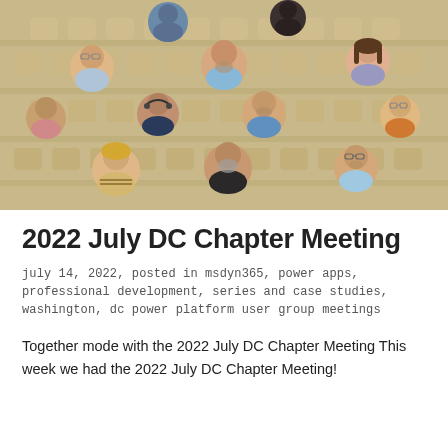[Figure (photo): Virtual meeting screenshot in Together Mode showing approximately 11 participants overlaid on an auditorium/lecture hall background with wooden stadium seating. Participants are arranged in 4 rows.]
2022 July DC Chapter Meeting
july 14, 2022, posted in msdyn365, power apps, professional development, series and case studies, washington, dc power platform user group meetings
Together mode with the 2022 July DC Chapter Meeting This week we had the 2022 July DC Chapter Meeting!